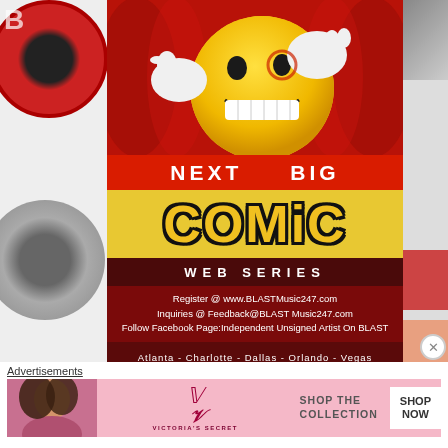[Figure (illustration): Left side fragment showing vinyl record discs in red and gray tones]
[Figure (illustration): Center promotional poster for 'Next Big Comic Web Series' by BLASTMusic247.com, featuring a 3D yellow smiley face with white gloves on a red curtain background, with registration and contact info, cities listed: Atlanta, Charlotte, Dallas, Orlando, Vegas]
[Figure (illustration): Right side fragment showing partial images in muted tones]
Advertisements
[Figure (illustration): Victoria's Secret advertisement banner: 'SHOP THE COLLECTION' with SHOP NOW button, pink background with model photo]